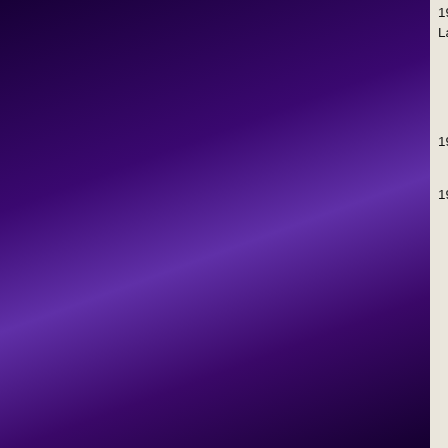1971/80 fables de La Fontaine. Illustrees pa La Fontaine (1971). Printed in Italy. Paris: De
Numerous realistic, playful, better-than-av text, since they are so well arranged on th sizing of the print on the covers, the pre-ti Classiques," to which this volume belongs
1971/81 Aesop in the Courts. Volume II. By
See Volume I under 1971. The stories her
1971/82 Le favole di La Fontaine. Versione
By clicking “Accept All Cookies”, you agree to the storing of cookies on your device to enhance site navigation, analyze site usage, and assist in our marketing efforts. Cookie/Privacy Policy
edition. Printed in Hong Kong. Oxford: Oxford